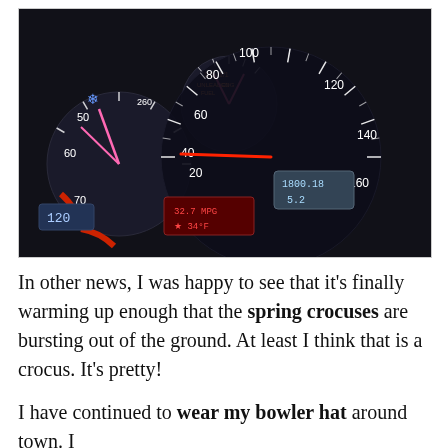[Figure (photo): Illuminated car dashboard at night showing speedometer reading approximately 40 mph with red needle, tachometer, fuel gauge showing UNLEADED and CNG, digital displays showing 1800.18 and 5.2, temperature reading 34°F, and odometer/trip reading 32.7 MPG. Speed numbers on speedometer: 0, 20, 40, 60, 80, 100, 120, 140, 160. Bottom left shows digital display reading 120.]
In other news, I was happy to see that it's finally warming up enough that the spring crocuses are bursting out of the ground. At least I think that is a crocus. It's pretty!
I have continued to wear my bowler hat around town. I